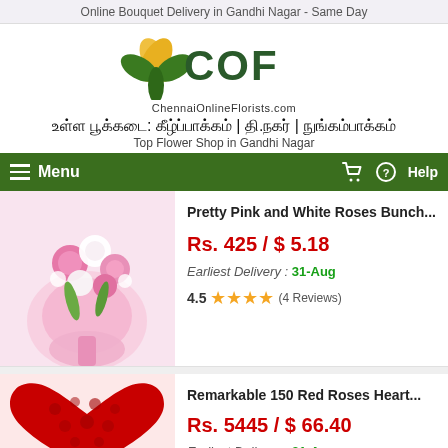Online Bouquet Delivery in Gandhi Nagar - Same Day
[Figure (logo): COF Chennai Online Florists logo with flower icon]
உள்ள பூக்கடை: கீழ்ப்பாக்கம் | தி.நகர் | நுங்கம்பாக்கம்
Top Flower Shop in Gandhi Nagar
Menu   Help
[Figure (photo): Pink and white roses bouquet wrapped in pink ribbon]
Pretty Pink and White Roses Bunch...
Rs. 425 / $ 5.18
Earliest Delivery : 31-Aug
4.5 ★★★★ (4 Reviews)
[Figure (photo): Heart-shaped arrangement of 150 red roses]
Remarkable 150 Red Roses Heart...
Rs. 5445 / $ 66.40
Earliest Delivery : 31-Aug